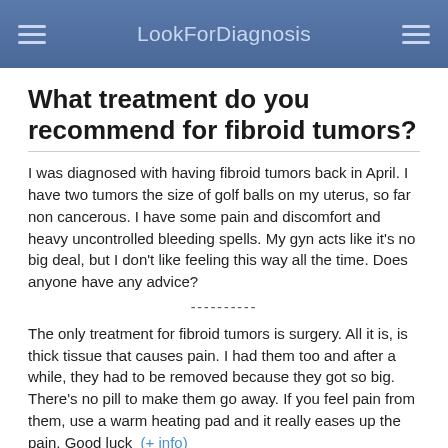LookForDiagnosis
What treatment do you recommend for fibroid tumors?
I was diagnosed with having fibroid tumors back in April. I have two tumors the size of golf balls on my uterus, so far non cancerous. I have some pain and discomfort and heavy uncontrolled bleeding spells. My gyn acts like it's no big deal, but I don't like feeling this way all the time. Does anyone have any advice?
----------
The only treatment for fibroid tumors is surgery. All it is, is thick tissue that causes pain. I had them too and after a while, they had to be removed because they got so big. There's no pill to make them go away. If you feel pain from them, use a warm heating pad and it really eases up the pain. Good luck  (+ info)
Can dystonia and spina bifida acculta